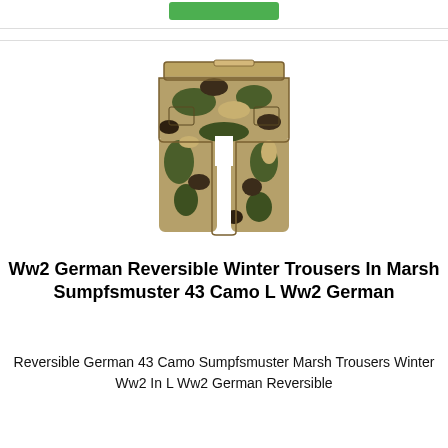[Figure (photo): Camouflage trousers in Sumpfmuster 43 marsh pattern, displayed flat against white background]
Ww2 German Reversible Winter Trousers In Marsh Sumpfsmuster 43 Camo L Ww2 German
Reversible German 43 Camo Sumpfsmuster Marsh Trousers Winter Ww2 In L Ww2 German Reversible